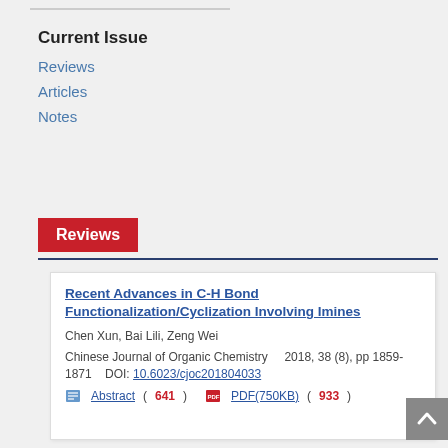Current Issue
Reviews
Articles
Notes
Reviews
Recent Advances in C-H Bond Functionalization/Cyclization Involving Imines
Chen Xun, Bai Lili, Zeng Wei
Chinese Journal of Organic Chemistry    2018, 38 (8), pp 1859-1871    DOI: 10.6023/cjoc201804033
Abstract( 641 )    PDF(750KB)( 933 )